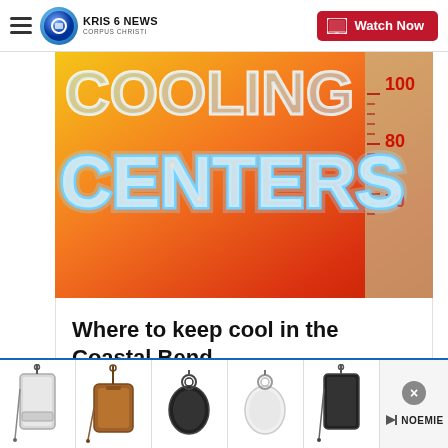KRIS 6 NEWS CORPUS CHRISTI — Watch Now
[Figure (photo): Cooling Centers graphic with thermometer showing temperatures around 70-100 degrees, orange/red background with glowing blue text reading CENTERS]
Where to keep cool in the Coastal Bend
[Figure (photo): Advertisement strip showing Noemie brand products: phone cases and AirPod cases with straps/keychains in various colors (silver, brown, black, white, black). Close button visible, Noemie logo with play button.]